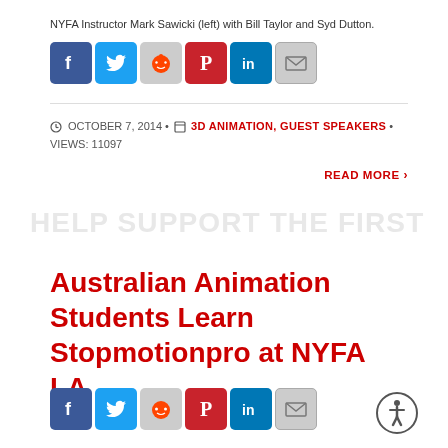NYFA Instructor Mark Sawicki (left) with Bill Taylor and Syd Dutton.
[Figure (other): Row of social media sharing icons: Facebook, Twitter, Reddit, Pinterest, LinkedIn, Email]
OCTOBER 7, 2014 • 3D ANIMATION, GUEST SPEAKERS • VIEWS: 11097
READ MORE ›
Australian Animation Students Learn Stopmotionpro at NYFA LA
[Figure (other): Row of social media sharing icons: Facebook, Twitter, Reddit, Pinterest, LinkedIn, Email; plus accessibility icon]